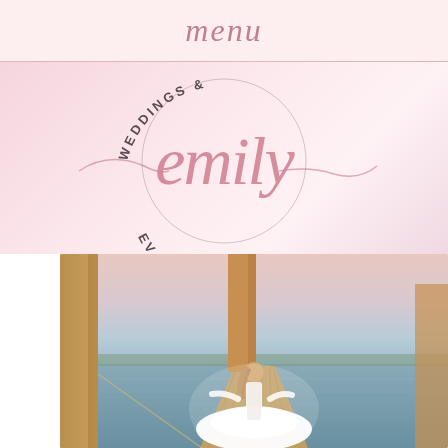menu
[Figure (logo): Emily Weddings & Events Team circular logo with cursive 'emily' script in rose pink center, surrounding arc text 'WEDDINGS & EVENTS TEAM' in dark gray, on a soft pink watercolor background]
[Figure (photo): A bride in a white ball gown standing on a wooden dock over water, arms outstretched, with wooden pilings and a boat visible, soft sunset light over a bay or estuary]